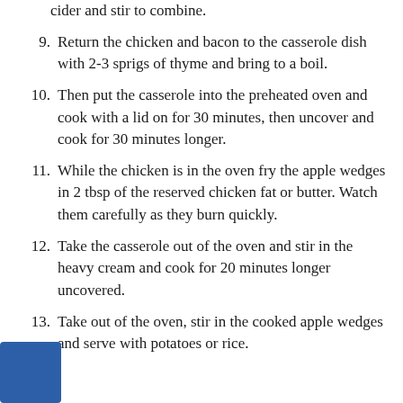cider and stir to combine.
9. Return the chicken and bacon to the casserole dish with 2-3 sprigs of thyme and bring to a boil.
10. Then put the casserole into the preheated oven and cook with a lid on for 30 minutes, then uncover and cook for 30 minutes longer.
11. While the chicken is in the oven fry the apple wedges in 2 tbsp of the reserved chicken fat or butter. Watch them carefully as they burn quickly.
12. Take the casserole out of the oven and stir in the heavy cream and cook for 20 minutes longer uncovered.
13. Take out of the oven, stir in the cooked apple wedges and serve with potatoes or rice.